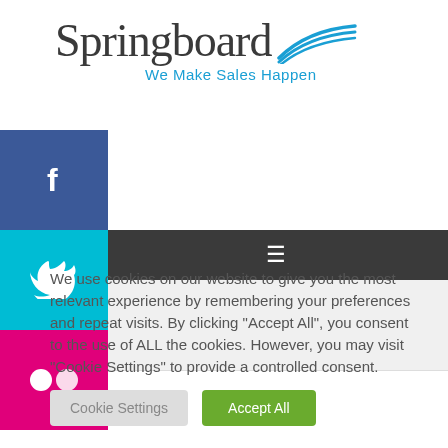[Figure (logo): Springboard logo with swoosh lines and tagline 'We Make Sales Happen']
[Figure (screenshot): Social media sidebar with Facebook (blue), Twitter (cyan), and Flickr (pink) icons, plus dark navigation bar with hamburger menu icon]
We use cookies on our website to give you the most relevant experience by remembering your preferences and repeat visits. By clicking "Accept All", you consent to the use of ALL the cookies. However, you may visit "Cookie Settings" to provide a controlled consent.
Cookie Settings  Accept All